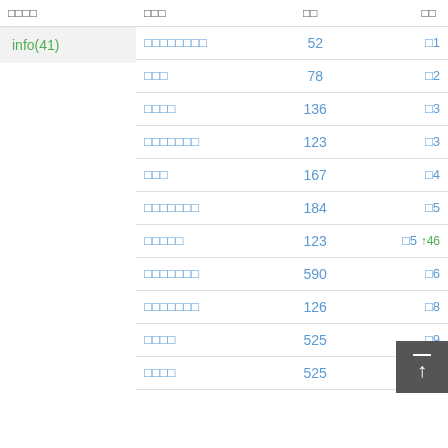| □□□□ | □□□ | □□ | □□ |
| --- | --- | --- | --- |
| info(41) | □□□□□□□□ | 52 | □1 |
|  | □□□ | 78 | □2 |
|  | □□□□ | 136 | □3 |
|  | □□□□□□□ | 123 | □3 |
|  | □□□ | 167 | □4 |
|  | □□□□□□□ | 184 | □5 |
|  | □□□□□ | 123 | □5 ↑46 |
|  | □□□□□□□ | 590 | □6 |
|  | □□□□□□□ | 126 | □8 |
|  | □□□□ | 525 | □9 |
|  | □□□□ | 525 | □11 ↓2 |